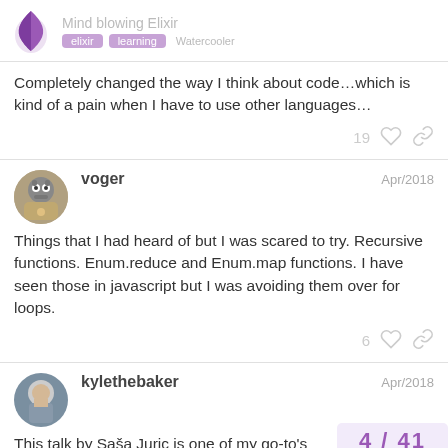Mind blowing Elixir
Completely changed the way I think about code…which is kind of a pain when I have to use other languages…
19 likes, share
voger — Apr/2018
Things that I had heard of but I was scared to try. Recursive functions. Enum.reduce and Enum.map functions. I have seen those in javascript but I was avoiding them over for loops.
6 likes, share
kylethebaker — Apr/2018
This talk by Saša Juric is one of my go-to's
4 / 41